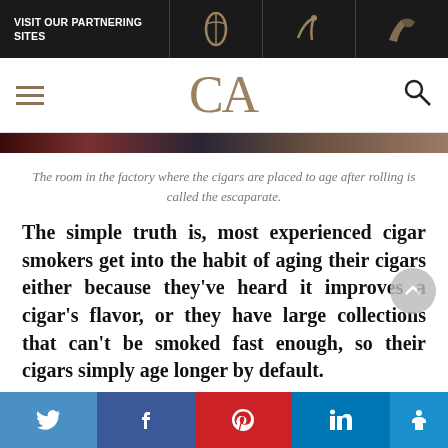VISIT OUR PARTNERING SITES
CA
[Figure (photo): Cropped image strip showing cigars aging in a factory room]
The room in the factory where the cigars are placed to age after rolling is called the escaparate.
The simple truth is, most experienced cigar smokers get into the habit of aging their cigars either because they've heard it improves a cigar's flavor, or they have large collections that can't be smoked fast enough, so their cigars simply age longer by default.
Social sharing bar: Twitter, Facebook, Pinterest, LinkedIn, Accessibility